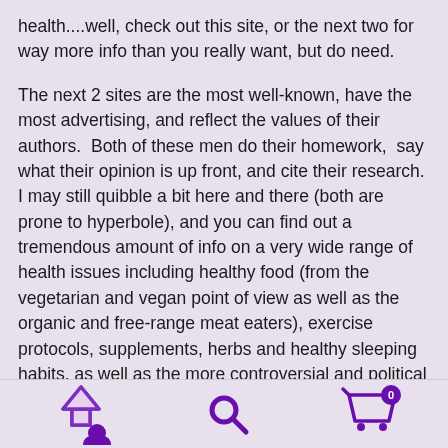health....well, check out this site, or the next two for way more info than you really want, but do need.
The next 2 sites are the most well-known, have the most advertising, and reflect the values of their authors. Both of these men do their homework, say what their opinion is up front, and cite their research. I may still quibble a bit here and there (both are prone to hyperbole), and you can find out a tremendous amount of info on a very wide range of health issues including healthy food (from the vegetarian and vegan point of view as well as the organic and free-range meat eaters), exercise protocols, supplements, herbs and healthy sleeping habits, as well as the more controversial and political issues like GMO, vaccines, pesticides, cell phone radiation problems, etc
[Figure (infographic): Mobile app bottom navigation bar with three icons: an upload/home icon with person silhouette (purple), a search/magnifying glass icon (purple), and a shopping cart icon with badge showing 0 (purple)]